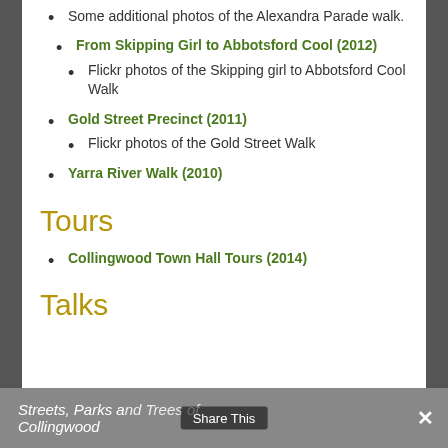Some additional photos of the Alexandra Parade walk.
From Skipping Girl to Abbotsford Cool (2012)
Flickr photos of the Skipping girl to Abbotsford Cool Walk
Gold Street Precinct (2011)
Flickr photos of the Gold Street Walk
Yarra River Walk (2010)
Tours
Collingwood Town Hall Tours (2014)
Talks
Streets, Parks and Trees of Collingwood